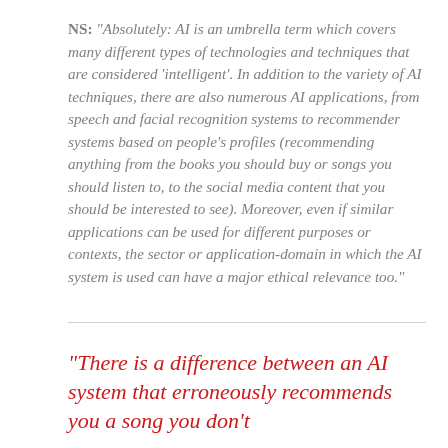NS: “Absolutely: AI is an umbrella term which covers many different types of technologies and techniques that are considered ‘intelligent’. In addition to the variety of AI techniques, there are also numerous AI applications, from speech and facial recognition systems to recommender systems based on people’s profiles (recommending anything from the books you should buy or songs you should listen to, to the social media content that you should be interested to see). Moreover, even if similar applications can be used for different purposes or contexts, the sector or application-domain in which the AI system is used can have a major ethical relevance too.”
“There is a difference between an AI system that erroneously recommends you a song you don’t